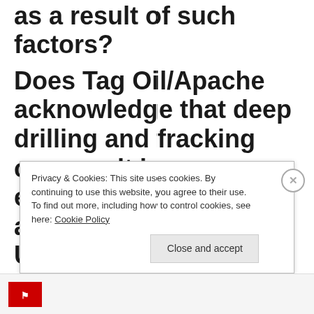as a result of such factors?
Does Tag Oil/Apache acknowledge that deep drilling and fracking can result in earthquake shocks, as acknowledged by the USA Geological Survey after the series of shocks experienced
Privacy & Cookies: This site uses cookies. By continuing to use this website, you agree to their use.
To find out more, including how to control cookies, see here: Cookie Policy
Close and accept